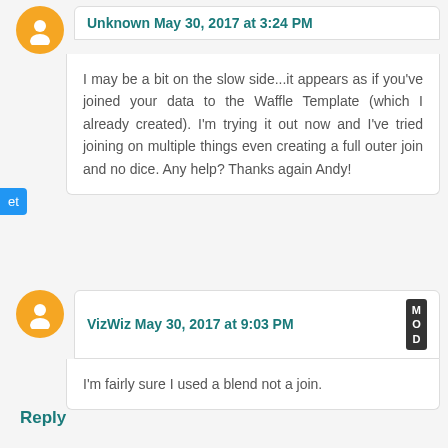Unknown May 30, 2017 at 3:24 PM
I may be a bit on the slow side...it appears as if you've joined your data to the Waffle Template (which I already created). I'm trying it out now and I've tried joining on multiple things even creating a full outer join and no dice. Any help? Thanks again Andy!
VizWiz May 30, 2017 at 9:03 PM
I'm fairly sure I used a blend not a join.
Reply